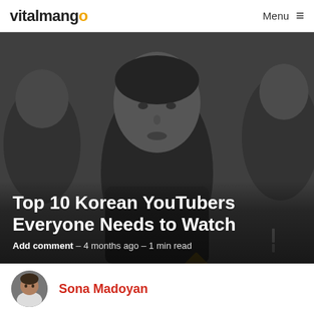vitalmango  Menu ≡
[Figure (photo): Hero photo: grayscale image of young man facing camera, flanked by other people, with geometric gold diamond overlays. Article hero image for 'Top 10 Korean YouTubers Everyone Needs to Watch'.]
Top 10 Korean YouTubers Everyone Needs to Watch
Add comment – 4 months ago – 1 min read
Sona Madoyan